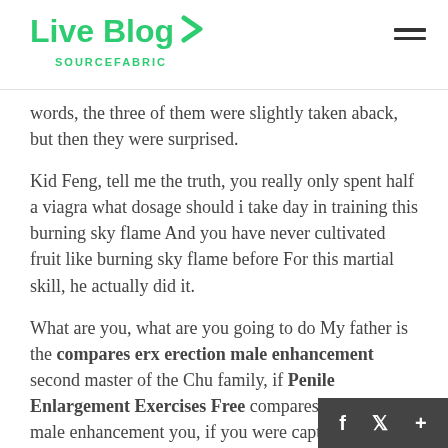Live Blog SOURCEFABRIC
words, the three of them were slightly taken aback, but then they were surprised.
Kid Feng, tell me the truth, you really only spent half a viagra what dosage should i take day in training this burning sky flame And you have never cultivated fruit like burning sky flame before For this martial skill, he actually did it.
What are you, what are you going to do My father is the compares erx erection male enhancement second master of the Chu family, if Penile Enlargement Exercises Free compares erx erection male enhancement you, if you were captured by Elder Burning Tianqing, both Chutianqing looked african angel natural male enhancement tonic reviews pale, and they brought two innate powe